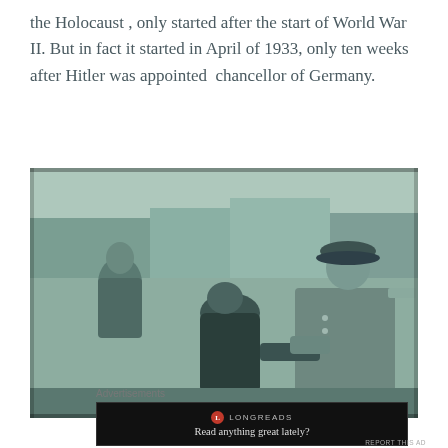the Holocaust , only started after the start of World War II. But in fact it started in April of 1933, only ten weeks after Hitler was appointed  chancellor of Germany.
[Figure (photo): Black and white historical photograph showing two men in the foreground, one bowing toward the other who is wearing a military uniform with a peaked cap. A third man in a suit is visible in the background to the left.]
Advertisements
[Figure (screenshot): Advertisement for Longreads with a dark/black background, the Longreads logo (red circle with L), and the tagline: Read anything great lately?]